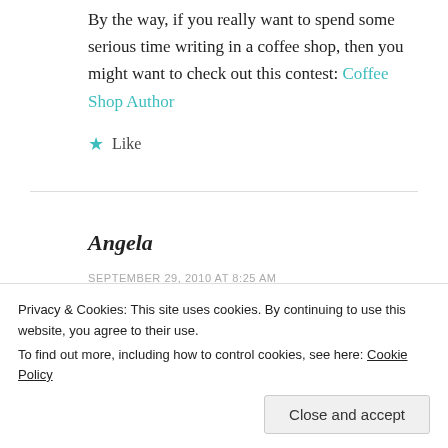By the way, if you really want to spend some serious time writing in a coffee shop, then you might want to check out this contest: Coffee Shop Author
★ Like
Angela
SEPTEMBER 29, 2010 AT 8:25 AM
Privacy & Cookies: This site uses cookies. By continuing to use this website, you agree to their use. To find out more, including how to control cookies, see here: Cookie Policy
Close and accept